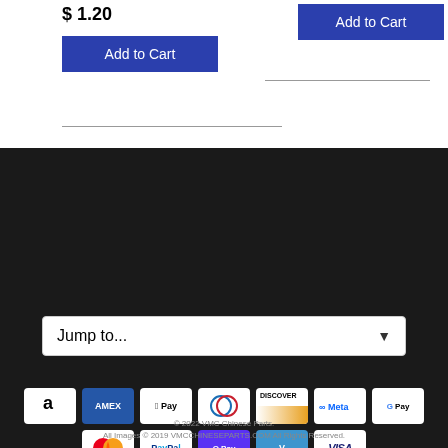$ 1.20
[Figure (screenshot): Add to Cart button (left, blue)]
[Figure (screenshot): Add to Cart button (right, blue)]
[Figure (screenshot): Jump to... dropdown selector on dark background]
[Figure (infographic): Payment method icons: Amazon, Amex, Apple Pay, Diners Club, Discover, Meta Pay, Google Pay, Mastercard, PayPal, Shop Pay, Venmo, Visa]
[Figure (logo): Shopify Secure badge]
© 2022 VMC Chinese Parts. All Images © 2019 VMCCHINESEPARTS.COM All Rights Reserved.